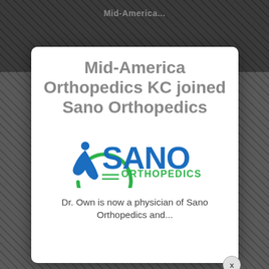[Figure (screenshot): Browser/app screenshot background showing Mid-America Orthopedics webpage with dark crosshatch pattern, with a modal dialog overlay]
Mid-America Orthopedics KC joined Sano Orthopedics
[Figure (logo): Sano Orthopedics logo: green circle arc with stylized person figure on left, blue bold SANO text, green ORTHOPEDICS text below with green horizontal lines]
Dr. Own is now a physician of Sano Orthopedics and...